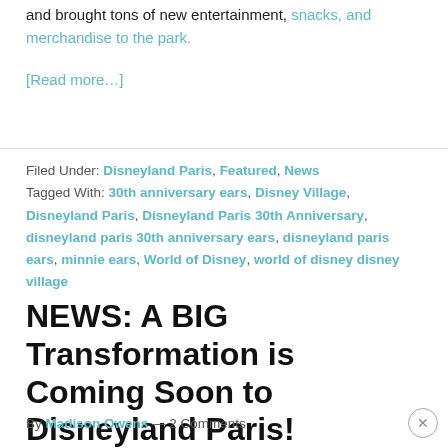and brought tons of new entertainment, snacks, and merchandise to the park.
[Read more…]
Filed Under: Disneyland Paris, Featured, News
Tagged With: 30th anniversary ears, Disney Village, Disneyland Paris, Disneyland Paris 30th Anniversary, disneyland paris 30th anniversary ears, disneyland paris ears, minnie ears, World of Disney, world of disney disney village
NEWS: A BIG Transformation is Coming Soon to Disneyland Paris!
By Madison Owens — 2 Comments